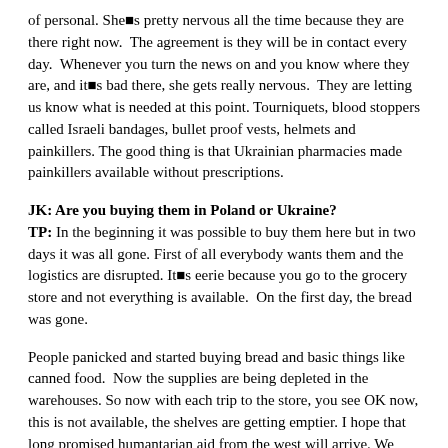of personal. She■s pretty nervous all the time because they are there right now.  The agreement is they will be in contact every day.  Whenever you turn the news on and you know where they are, and it■s bad there, she gets really nervous.  They are letting us know what is needed at this point. Tourniquets, blood stoppers called Israeli bandages, bullet proof vests, helmets and painkillers. The good thing is that Ukrainian pharmacies made painkillers available without prescriptions.
JK: Are you buying them in Poland or Ukraine?
TP: In the beginning it was possible to buy them here but in two days it was all gone. First of all everybody wants them and the logistics are disrupted. It■s eerie because you go to the grocery store and not everything is available.  On the first day, the bread was gone.
People panicked and started buying bread and basic things like canned food.  Now the supplies are being depleted in the warehouses. So now with each trip to the store, you see OK now, this is not available, the shelves are getting emptier. I hope that long promised humantarian aid from the west will arrive. We don■t see it yet.
And the guys who are defending Kiev, they don■t see it either. So basically with our effort we■re trying to fill that critical gap before the official western government aid arrives. I guess it takes long time for the